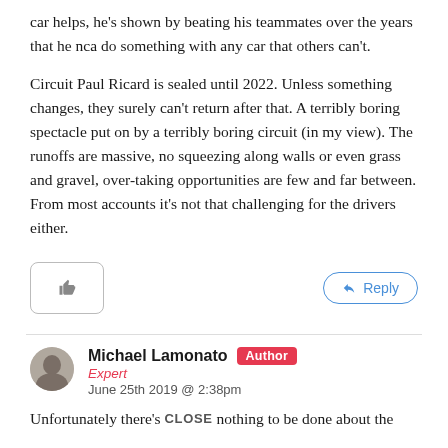car helps, he's shown by beating his teammates over the years that he nca do something with any car that others can't.
Circuit Paul Ricard is sealed until 2022. Unless something changes, they surely can't return after that. A terribly boring spectacle put on by a terribly boring circuit (in my view). The runoffs are massive, no squeezing along walls or even grass and gravel, over-taking opportunities are few and far between. From most accounts it's not that challenging for the drivers either.
[Figure (other): Like button (thumbs up icon) and Reply button with arrow icon]
Michael Lamonato Author
Expert
June 25th 2019 @ 2:38pm
Unfortunately there's nothing to be done about the